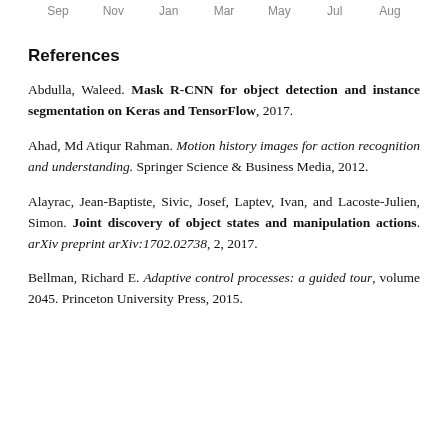[Figure (continuous-plot): Top of a time-series or x-axis showing month labels: Sep, Nov, Jan, Mar, May, Jul, Aug]
References
Abdulla, Waleed. Mask R-CNN for object detection and instance segmentation on Keras and TensorFlow, 2017.
Ahad, Md Atiqur Rahman. Motion history images for action recognition and understanding. Springer Science & Business Media, 2012.
Alayrac, Jean-Baptiste, Sivic, Josef, Laptev, Ivan, and Lacoste-Julien, Simon. Joint discovery of object states and manipulation actions. arXiv preprint arXiv:1702.02738, 2, 2017.
Bellman, Richard E. Adaptive control processes: a guided tour, volume 2045. Princeton University Press, 2015.